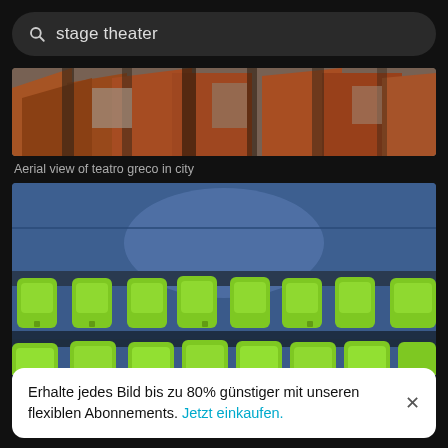stage theater
[Figure (photo): Aerial view of ruins of an ancient theater (teatro greco) surrounded by red-roofed buildings in a city]
Aerial view of teatro greco in city
[Figure (photo): Theater seating with rows of bright green/lime plastic seats against a blue wall]
Erhalte jedes Bild bis zu 80% günstiger mit unseren flexiblen Abonnements. Jetzt einkaufen.